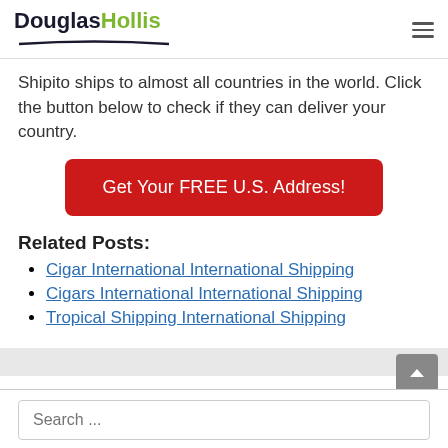DouglasHollis
Shipito ships to almost all countries in the world. Click the button below to check if they can deliver your country.
[Figure (other): Red call-to-action button labeled 'Get Your FREE U.S. Address!']
Related Posts:
Cigar International International Shipping
Cigars International International Shipping
Tropical Shipping International Shipping
Search ...